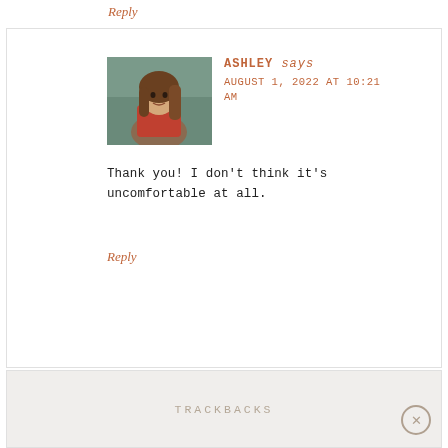Reply
[Figure (photo): Profile photo of Ashley, a young woman with long brown hair wearing a red top, photographed outdoors near water]
ASHLEY says
AUGUST 1, 2022 AT 10:21 AM
Thank you! I don't think it's uncomfortable at all.
Reply
TRACKBACKS